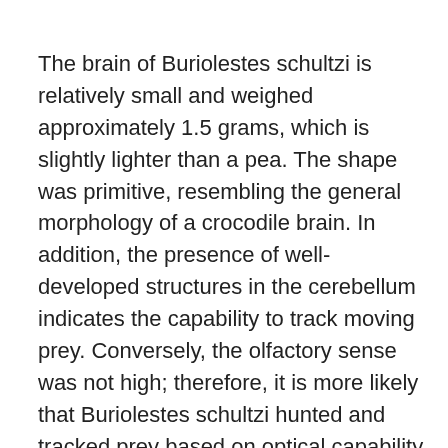The brain of Buriolestes schultzi is relatively small and weighed approximately 1.5 grams, which is slightly lighter than a pea. The shape was primitive, resembling the general morphology of a crocodile brain. In addition, the presence of well-developed structures in the cerebellum indicates the capability to track moving prey. Conversely, the olfactory sense was not high; therefore, it is more likely that Buriolestes schultzi hunted and tracked prey based on optical capability rather than its olfactory sense.
Despite the carnivorous feeding behavior of this dinosaur, it belongs to the lineage of giant, long-necked, herbivorous sauropods, the largest land animals that ever lived. However, Buriolestes schultzi is considered the earliest member of this lineage. So, the new brain reconstruction allows researchers to